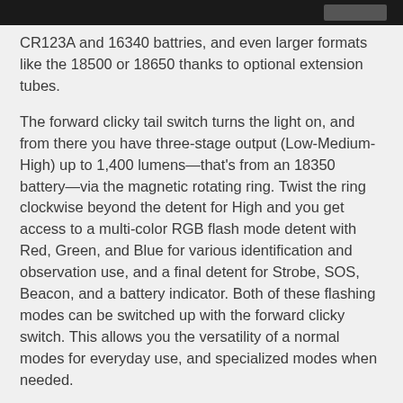CR123A and 16340 battries, and even larger formats like the 18500 or 18650 thanks to optional extension tubes.
The forward clicky tail switch turns the light on, and from there you have three-stage output (Low-Medium-High) up to 1,400 lumens—that's from an 18350 battery—via the magnetic rotating ring. Twist the ring clockwise beyond the detent for High and you get access to a multi-color RGB flash mode detent with Red, Green, and Blue for various identification and observation use, and a final detent for Strobe, SOS, Beacon, and a battery indicator. Both of these flashing modes can be switched up with the forward clicky switch. This allows you the versatility of a normal modes for everyday use, and specialized modes when needed.